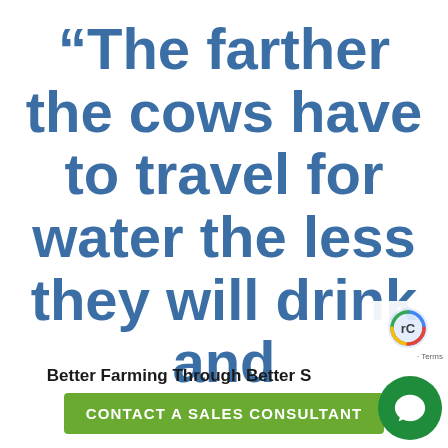“The farther the cows have to travel for water the less they will drink and
Better Farming Through Better S...
CONTACT A SALES CONSULTANT